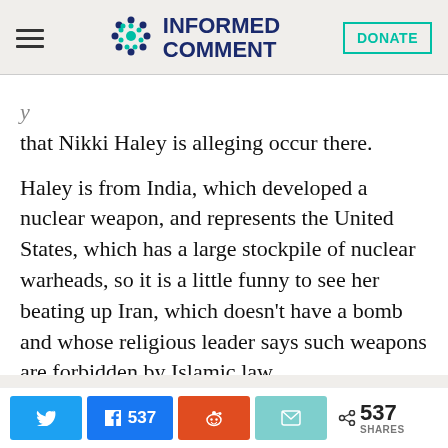INFORMED COMMENT
that Nikki Haley is alleging occur there.
Haley is from India, which developed a nuclear weapon, and represents the United States, which has a large stockpile of nuclear warheads, so it is a little funny to see her beating up Iran, which doesn’t have a bomb and whose religious leader says such weapons are forbidden by Islamic law.
The only reason that the Trumpies are
537 SHARES